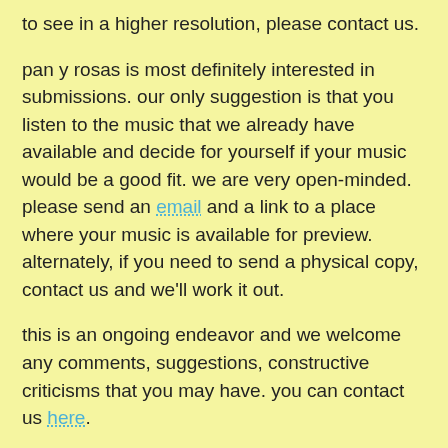to see in a higher resolution, please contact us.
pan y rosas is most definitely interested in submissions. our only suggestion is that you listen to the music that we already have available and decide for yourself if your music would be a good fit. we are very open-minded. please send an email and a link to a place where your music is available for preview. alternately, if you need to send a physical copy, contact us and we'll work it out.
this is an ongoing endeavor and we welcome any comments, suggestions, constructive criticisms that you may have. you can contact us here.
please feel free to read the following to find out more about what we believe in!
manifesto!